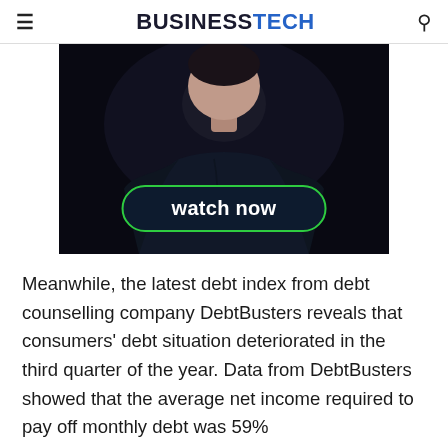BUSINESSTECH
[Figure (photo): A person wearing a dark navy/black long-sleeve shirt against a dark background, with a 'watch now' button overlay at the bottom of the image]
Meanwhile, the latest debt index from debt counselling company DebtBusters reveals that consumers' debt situation deteriorated in the third quarter of the year. Data from DebtBusters showed that the average net income required to pay off monthly debt was 59%...